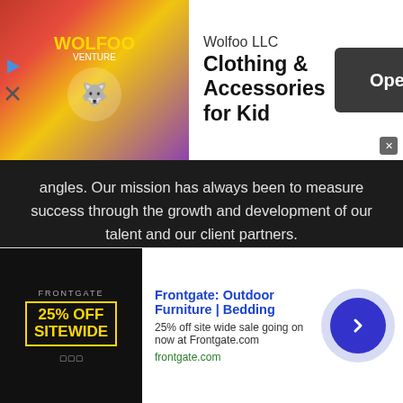[Figure (screenshot): Advertisement banner: Wolfoo LLC - Clothing & Accessories for Kid, with Open button]
angles. Our mission has always been to measure success through the growth and development of our talent and our client partners.
Contact us: contact@sportstalkflorida.com
FOLLOW US
[Figure (infographic): Social media icons: Facebook, Twitter, YouTube]
[Figure (screenshot): Advertisement: Frontgate: Outdoor Furniture | Bedding - 25% off site wide sale going on now at Frontgate.com]